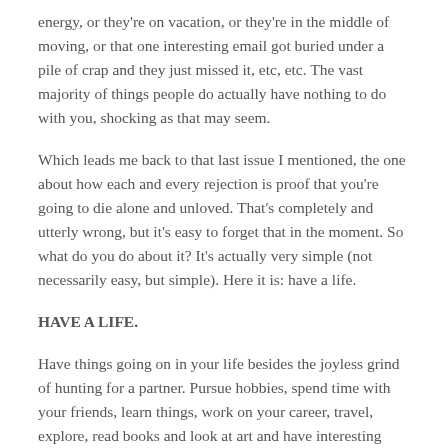energy, or they're on vacation, or they're in the middle of moving, or that one interesting email got buried under a pile of crap and they just missed it, etc, etc. The vast majority of things people do actually have nothing to do with you, shocking as that may seem.
Which leads me back to that last issue I mentioned, the one about how each and every rejection is proof that you're going to die alone and unloved. That's completely and utterly wrong, but it's easy to forget that in the moment. So what do you do about it? It's actually very simple (not necessarily easy, but simple). Here it is: have a life.
HAVE A LIFE.
Have things going on in your life besides the joyless grind of hunting for a partner. Pursue hobbies, spend time with your friends, learn things, work on your career, travel, explore, read books and look at art and have interesting discussions with people and for fuck's sake do not let the